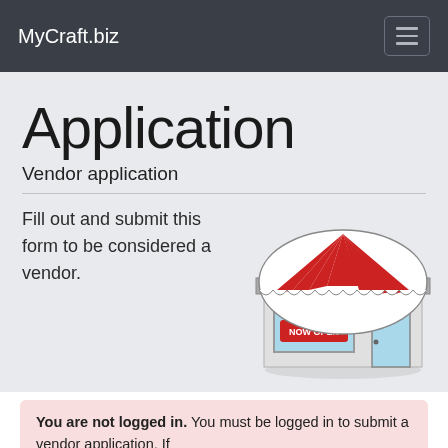MyCraft.biz
Application
Vendor application
Fill out and submit this form to be considered a vendor.
[Figure (illustration): A cartoon illustration of a small retail shop/storefront with a red and white striped awning and a 'NOW OPEN' sign in the window.]
You are not logged in. You must be logged in to submit a vendor application. If you do not yet have an account, click here to begin.